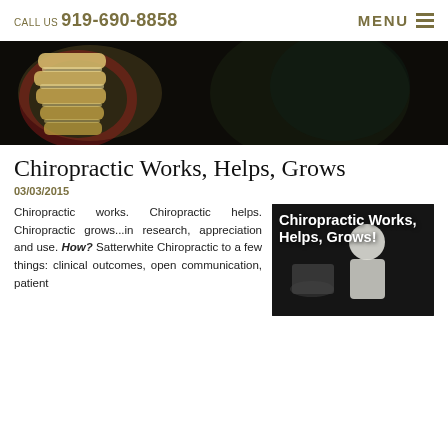CALL US 919-690-8858   MENU
[Figure (photo): 3D rendered image of spinal vertebrae with dark background and red glow highlight]
Chiropractic Works, Helps, Grows
03/03/2015
Chiropractic works. Chiropractic helps. Chiropractic grows...in research, appreciation and use. How? Satterwhite Chiropractic to a few things: clinical outcomes, open communication, patient
[Figure (photo): Photo of chiropractor treating patient with text overlay reading 'Chiropractic Works, Helps, Grows!']